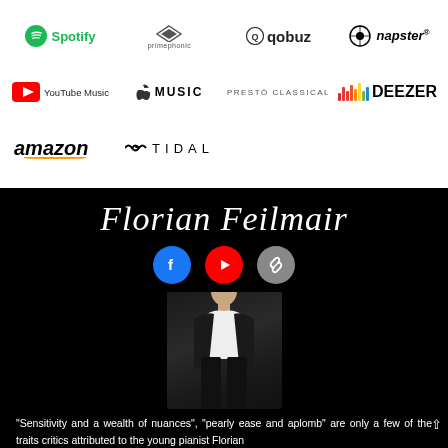[Figure (logo): Streaming service logos: Spotify, Primephonic, Qobuz, Napster, YouTube Music, Apple Music, Presto Classical, Deezer, Amazon, Tidal]
Florian Feilmair
[Figure (photo): Portrait photo of Florian Feilmair, young pianist in dark suit against black background]
“Sensitivity and a wealth of nuances”, “pearly ease and aplomb” are only a few of the traits critics attributed to the young pianist Florian